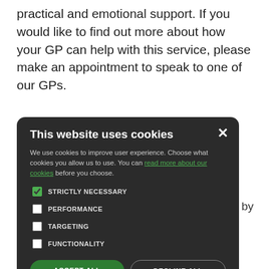practical and emotional support. If you would like to find out more about how your GP can help with this service, please make an appointment to speak to one of our GPs.
[Figure (screenshot): Cookie consent modal dialog with dark background. Title: 'This website uses cookies'. Body text: 'We use cookies to improve user experience. Choose what cookies you allow us to use. You can read more about our cookies before you choose.' Checkboxes: STRICTLY NECESSARY (checked), PERFORMANCE (unchecked), TARGETING (unchecked), FUNCTIONALITY (unchecked). Buttons: ACCEPT ALL (green), DECLINE ALL (outline). Close X button top right.]
...s delivered by b... rive Tribe, f... s is a p... ers and offers p... elp you achieve y... illed Health R... ghout your w...
If you would like to feel fitter, healthier and lose weight,